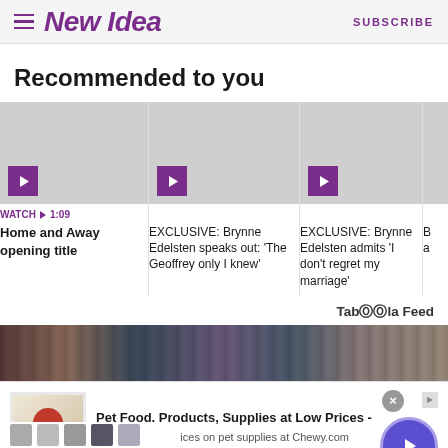New Idea | SUBSCRIBE
Recommended to you
[Figure (screenshot): Three video thumbnail cards (grey placeholders) with purple play buttons. Card 1: WATCH 1:09 - Home and Away opening title. Card 2: EXCLUSIVE: Brynne Edelsten speaks out: 'The Geoffrey only I knew'. Card 3: EXCLUSIVE: Brynne Edelsten admits 'I don't regret my marriage'. Card 4: partially visible.]
Taboola Feed
[Figure (photo): Crowd photo strip showing people in formal/military attire]
Pet Food, Products, Supplies at Low Prices - Pay the lowest prices on pet supplies at Chewy.com chewy.com